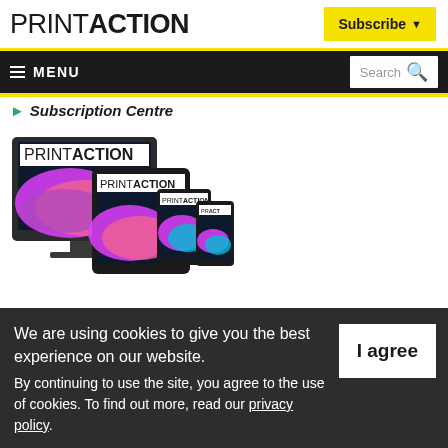PRINTACTION
Subscribe
MENU | Search
Subscription Centre
[Figure (illustration): PrintAction magazine displayed on desktop monitor, tablet, phone, and small device — multi-device mockup showing magazine covers with colorful wave design]
We are using cookies to give you the best experience on our website. By continuing to use the site, you agree to the use of cookies. To find out more, read our privacy policy.
I agree